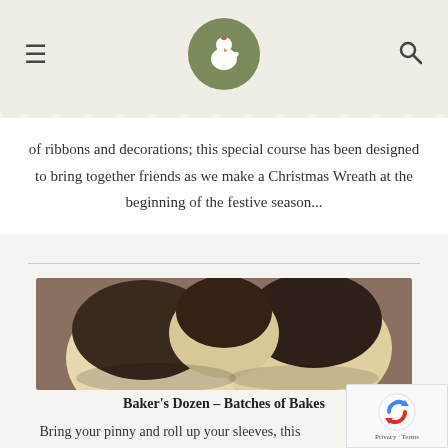Navigation header with hamburger menu, chicken logo, and search icon
of ribbons and decorations; this special course has been designed to bring together friends as we make a Christmas Wreath at the beginning of the festive season...
[Figure (photo): Close-up photo of baked goods (English muffins or rolls) with dark tops on a wooden surface]
Baker's Dozen – Batches of Bakes
Bring your pinny and roll up your sleeves, this special course has been designed to help